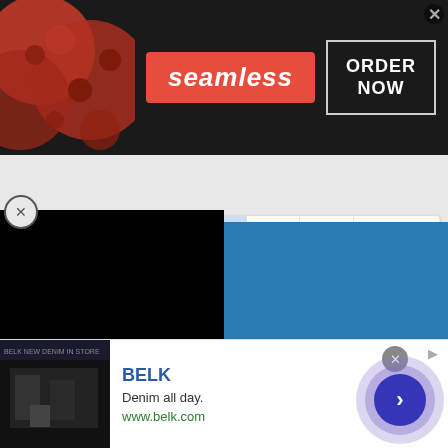[Figure (screenshot): Seamless food delivery advertisement banner with pizza image on left, red seamless logo in center, and ORDER NOW button on right]
[Figure (screenshot): Pagination navigation showing: Prev, 1, ..., 15 (active/highlighted), ..., 26, Next]
You must log in or register to reply here.
[Figure (screenshot): Black video/media block overlaid on page with X close button]
[Figure (screenshot): Blue sidebar content area with partial text 'n Crafoord']
[Figure (screenshot): BELK advertisement: Denim all day. www.belk.com with navigation circle button]